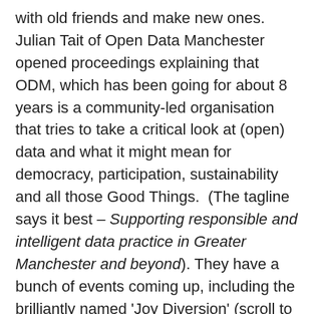with old friends and make new ones.  Julian Tait of Open Data Manchester opened proceedings explaining that ODM, which has been going for about 8 years is a community-led organisation that tries to take a critical look at (open) data and what it might mean for democracy, participation, sustainability and all those Good Things.  (The tagline says it best – Supporting responsible and intelligent data practice in Greater Manchester and beyond). They have a bunch of events coming up, including the brilliantly named 'Joy Diversion' (scroll to the bottom) and he then asked if anyone else had events. There was on – this Thursday, 10 May Meet Amazing Data Women, open to anyone who identifies as a women.
A representative of the host building, The Federation gave a short talk, mentioning that it's a